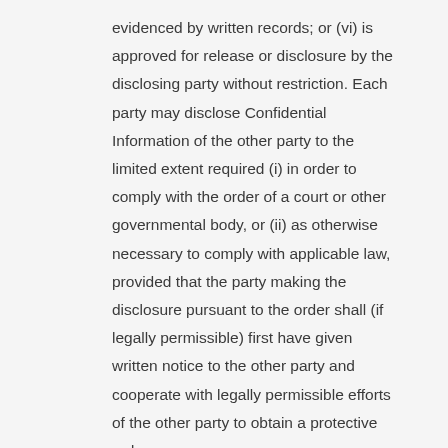evidenced by written records; or (vi) is approved for release or disclosure by the disclosing party without restriction. Each party may disclose Confidential Information of the other party to the limited extent required (i) in order to comply with the order of a court or other governmental body, or (ii) as otherwise necessary to comply with applicable law, provided that the party making the disclosure pursuant to the order shall (if legally permissible) first have given written notice to the other party and cooperate with legally permissible efforts of the other party to obtain a protective order.
7.4 No party shall make, or permit any person to